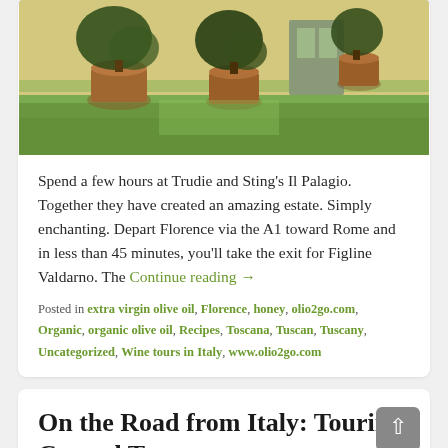[Figure (photo): Outdoor garden of Il Palagio estate with terracotta pots containing trees/plants on a grass lawn in front of a pale yellow building]
Spend a few hours at Trudie and Sting's Il Palagio. Together they have created an amazing estate. Simply enchanting. Depart Florence via the A1 toward Rome and in less than 45 minutes, you'll take the exit for Figline Valdarno. The Continue reading →
Posted in extra virgin olive oil, Florence, honey, olio2go.com, Organic, organic olive oil, Recipes, Toscana, Tuscan, Tuscany, Uncategorized, Wine tours in Italy, www.olio2go.com
On the Road from Italy: Touring Coastal Tuscany